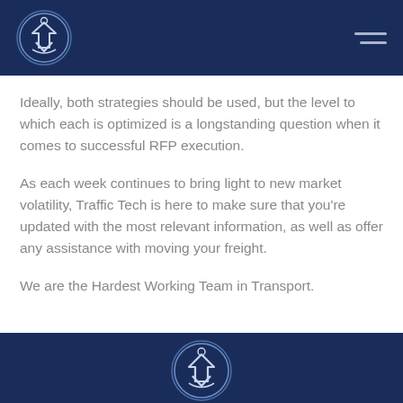Traffic Tech logo and navigation header
Ideally, both strategies should be used, but the level to which each is optimized is a longstanding question when it comes to successful RFP execution.
As each week continues to bring light to new market volatility, Traffic Tech is here to make sure that you're updated with the most relevant information, as well as offer any assistance with moving your freight.
We are the Hardest Working Team in Transport.
Traffic Tech logo footer